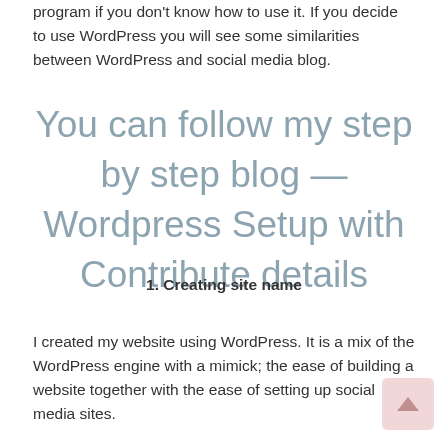program if you don't know how to use it. If you decide to use WordPress you will see some similarities between WordPress and social media blog.
You can follow my step by step blog — Wordpress Setup with Contribute details
1. Creating site name
I created my website using WordPress. It is a mix of the WordPress engine with a mimick; the ease of building a website together with the ease of setting up social media sites.